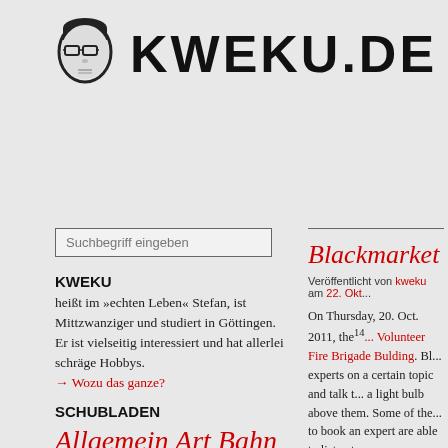[Figure (logo): Stylized face/avatar logo icon of a person with glasses, black on light background]
KWEKU.DE
Suchbegriff eingeben
KWEKU
heißt im »echten Leben« Stefan, ist Mittzwanziger und studiert in Göttingen. Er ist vielseitig interessiert und hat allerlei schräge Hobbys. → Wozu das ganze?
SCHUBLADEN
Allgemein Art Bahn Englich ...
Blackmarket
Veröffentlicht von kweku am 22. Okt...
On Thursday, 20. Oct. 2011, the 14th... Volunteer Fire Brigade Bulding. Bl... experts on a certain topic and talk t... a light bulb above them. Some of the... to book an expert are able to listen t... as a communicative and performa... discuss the question about what k...